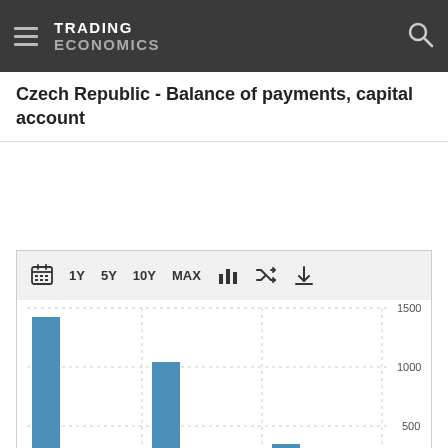TRADING ECONOMICS
Czech Republic - Balance of payments, capital account
[Figure (bar-chart): Bar chart showing Czech Republic balance of payments capital account quarterly values, with y-axis showing 500, 1000, 1500 gridlines]